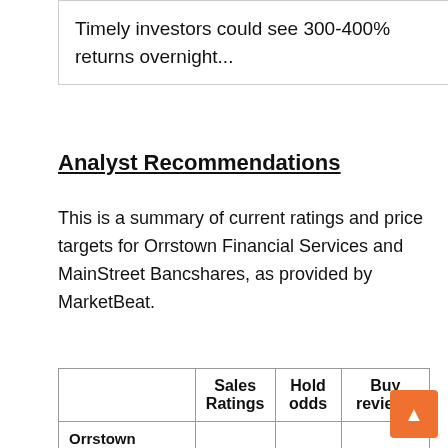Timely investors could see 300-400% returns overnight...
Analyst Recommendations
This is a summary of current ratings and price targets for Orrstown Financial Services and MainStreet Bancshares, as provided by MarketBeat.
|  | Sales Ratings | Hold odds | Buy reviews |
| --- | --- | --- | --- |
| Orrstown Financial Services | 0 | 0 | 1 |